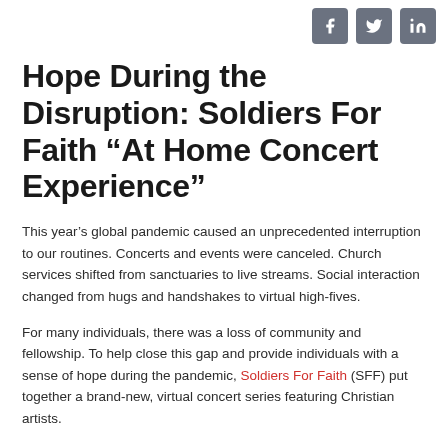[Figure (other): Social media share icons: Facebook, Twitter, LinkedIn — gray rounded square buttons]
Hope During the Disruption: Soldiers For Faith “At Home Concert Experience”
This year’s global pandemic caused an unprecedented interruption to our routines. Concerts and events were canceled. Church services shifted from sanctuaries to live streams. Social interaction changed from hugs and handshakes to virtual high-fives.
For many individuals, there was a loss of community and fellowship. To help close this gap and provide individuals with a sense of hope during the pandemic, Soldiers For Faith (SFF) put together a brand-new, virtual concert series featuring Christian artists.
The origin of the series began with a simple conversation between Kelly McAndrew, CEO of AM Technical Solutions and SFF, and Chad Mattson, lead singer of the band Unspoken. They were discussing ways to deliver fellowship and “face to face” interaction between music fans and artists during the global quarantine. Together with other Christian artists,